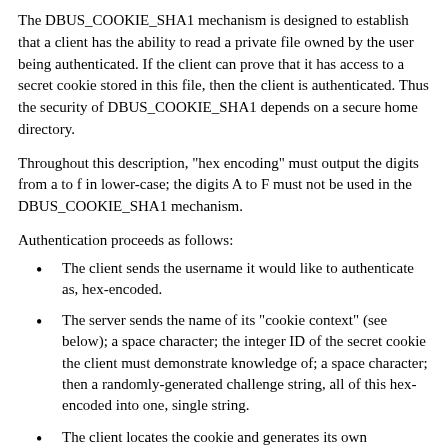The DBUS_COOKIE_SHA1 mechanism is designed to establish that a client has the ability to read a private file owned by the user being authenticated. If the client can prove that it has access to a secret cookie stored in this file, then the client is authenticated. Thus the security of DBUS_COOKIE_SHA1 depends on a secure home directory.
Throughout this description, "hex encoding" must output the digits from a to f in lower-case; the digits A to F must not be used in the DBUS_COOKIE_SHA1 mechanism.
Authentication proceeds as follows:
The client sends the username it would like to authenticate as, hex-encoded.
The server sends the name of its "cookie context" (see below); a space character; the integer ID of the secret cookie the client must demonstrate knowledge of; a space character; then a randomly-generated challenge string, all of this hex-encoded into one, single string.
The client locates the cookie and generates its own randomly-generated challenge string. The client then concatenates the server's decoded challenge, a ":" character, its own challenge, another ":" character, and the cookie. It